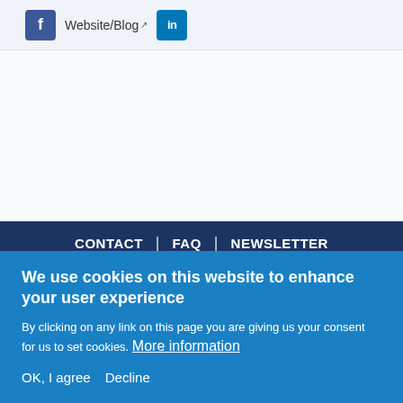[Figure (logo): Facebook icon (blue square with white 'f'), Website/Blog link with external link icon, LinkedIn icon (blue square with 'in')]
CONTACT | FAQ | NEWSLETTER | LEGAL NOTICE | SYNERGIE CTE
URBACT is a European exchange and learning
We use cookies on this website to enhance your user experience
By clicking on any link on this page you are giving us your consent for us to set cookies. More information
OK, I agree   Decline